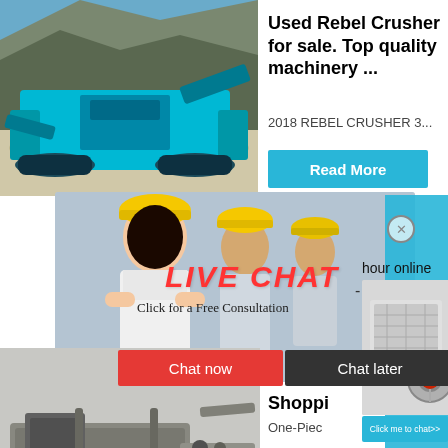[Figure (photo): Teal/blue mobile jaw crusher machine parked outdoors on sandy ground with rock cliff background]
Used Rebel Crusher for sale. Top quality machinery ...
2018 REBEL CRUSHER 3...
[Figure (photo): Live Chat popup overlay showing workers in yellow hard hats; LIVE CHAT text in red italic; buttons Chat now (red) and Chat later (dark gray); close X button]
hour online
[Figure (photo): Gray industrial crusher machine on right side panel]
Click me to chat>>
[Figure (photo): Gray drilling/boring machine on ground, bottom-left]
Shoppi
One-Piec
Read
Enquiry
limingjlmofen